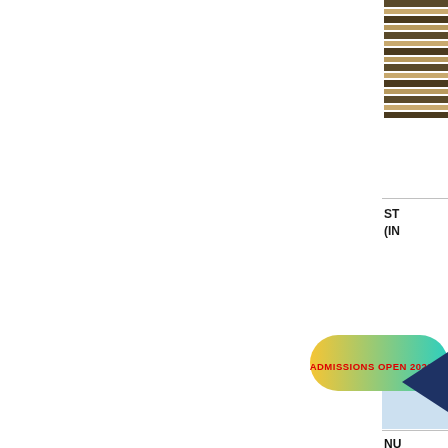[Figure (illustration): Striped/hatched decorative block in upper right corner, dark and light horizontal stripes]
ST
(IN
[Figure (other): Light blue rectangle box on right side]
ADMISSIONS OPEN 2022-23
[Figure (other): Dark navy blue arrow/chevron shape pointing left on right side]
NU
20
Nu
He